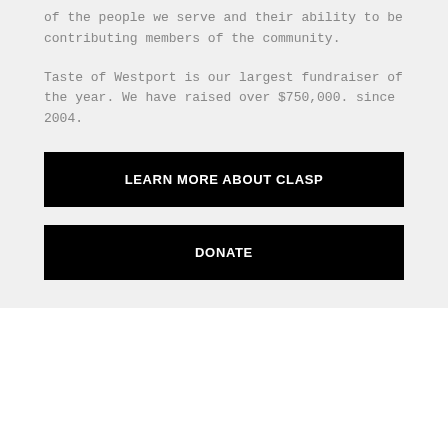of the people we serve and their ability to be contributing members of the community.
Taste of Westport is our largest fundraiser of the year. We have raised over $750,000. since 2004.
LEARN MORE ABOUT CLASP
DONATE